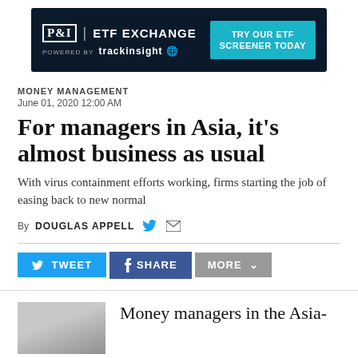[Figure (other): Advertisement banner for P&I ETF Exchange powered by trackinsight with a 'TRY OUR ETF SCREENER TODAY' call-to-action button]
MONEY MANAGEMENT
June 01, 2020 12:00 AM
For managers in Asia, it’s almost business as usual
With virus containment efforts working, firms starting the job of easing back to new normal
By DOUGLAS APPELL
Money managers in the Asia-